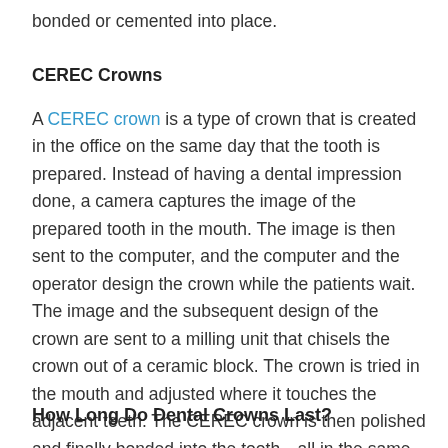bonded or cemented into place.
CEREC Crowns
A CEREC crown is a type of crown that is created in the office on the same day that the tooth is prepared. Instead of having a dental impression done, a camera captures the image of the prepared tooth in the mouth. The image is then sent to the computer, and the computer and the operator design the crown while the patients wait. The image and the subsequent design of the crown are sent to a milling unit that chisels the crown out of a ceramic block. The crown is tried in the mouth and adjusted where it touches the adjacent teeth. The CEREC crown is then polished and finally bonded into the tooth—all in the same visit.
How Long Do Dental Crowns Last?